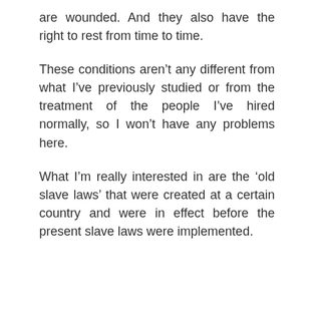are wounded. And they also have the right to rest from time to time.
These conditions aren’t any different from what I’ve previously studied or from the treatment of the people I’ve hired normally, so I won’t have any problems here.
What I’m really interested in are the ‘old slave laws’ that were created at a certain country and were in effect before the present slave laws were implemented.